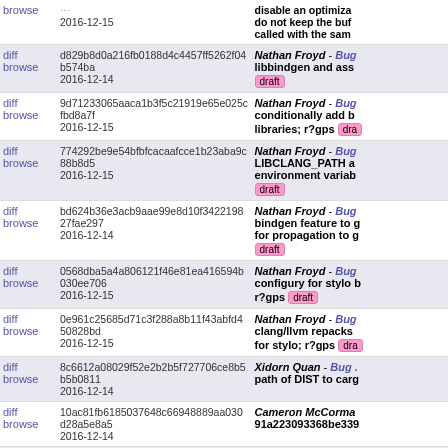| links | hash/date | description |
| --- | --- | --- |
| diff browse | 2016-12-15 | disable an optimiza... do not keep the buf... called with the sam... |
| diff browse | d829b8d0a216fb0188d4c4457ff5262f04b574ba 2016-12-14 | Nathan Froyd - Bug... libbindgen and ass... draft |
| diff browse | 9d71233065aaca1b3f5c21919e65e025cfbd8a7f 2016-12-15 | Nathan Froyd - Bug... conditionally add b... libraries; r?gps draft |
| diff browse | 774292be9e54bfbfcacaafcce1b23aba9c88b8d5 2016-12-15 | Nathan Froyd - Bug... LIBCLANG_PATH a... environment variab... draft |
| diff browse | bd624b36e3acb9aae99e8d10f342219827fae297 2016-12-14 | Nathan Froyd - Bug... bindgen feature to g... for propagation to g... draft |
| diff browse | 0568dba5a4a806121f46e81ea416594b030ee706 2016-12-15 | Nathan Froyd - Bug... configury for stylo b... r?gps draft |
| diff browse | 0e961c25685d71c3f288a8b11f43abfd450828bd 2016-12-15 | Nathan Froyd - Bug... clang/llvm repacks... for stylo; r?gps draft |
| diff browse | 8c6612a08029f52e2b2b5f727706ce8b5b5b0811 2016-12-14 | Xidorn Quan - Bug ... path of DIST to carg... |
| diff browse | 10ac81fb6185037648c66948889aa030d28a5e8a5 2016-12-14 | Cameron McCorm... 91a223093368be339... |
| diff browse | 7df877cd433c28e302d9647e8d7c3d5478cb5ee0 2016-12-14 | Cameron McCorm... into incubator/stylo... |